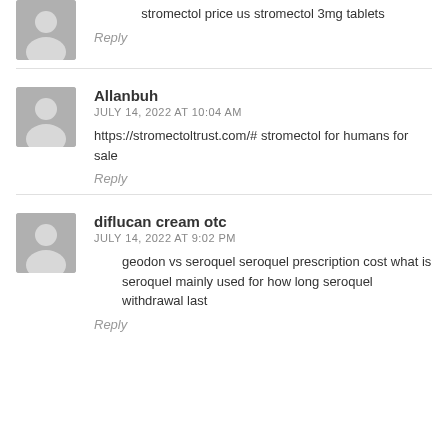stromectol price us stromectol 3mg tablets
Reply
Allanbuh
JULY 14, 2022 AT 10:04 AM
https://stromectoltrust.com/# stromectol for humans for sale
Reply
diflucan cream otc
JULY 14, 2022 AT 9:02 PM
geodon vs seroquel seroquel prescription cost what is seroquel mainly used for how long seroquel withdrawal last
Reply